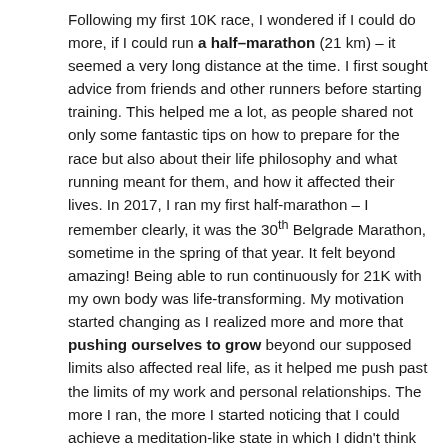Following my first 10K race, I wondered if I could do more, if I could run a half–marathon (21 km) – it seemed a very long distance at the time. I first sought advice from friends and other runners before starting training. This helped me a lot, as people shared not only some fantastic tips on how to prepare for the race but also about their life philosophy and what running meant for them, and how it affected their lives. In 2017, I ran my first half-marathon – I remember clearly, it was the 30th Belgrade Marathon, sometime in the spring of that year. It felt beyond amazing! Being able to run continuously for 21K with my own body was life-transforming. My motivation started changing as I realized more and more that pushing ourselves to grow beyond our supposed limits also affected real life, as it helped me push past the limits of my work and personal relationships. The more I ran, the more I started noticing that I could achieve a meditation-like state in which I didn't think about running at all, and my mind just started wandering. In that state, more often than not, solutions to various personal and work challenges just appeared in my mind. Eventually, I learned that this state is known as a runner's high, experienced by many